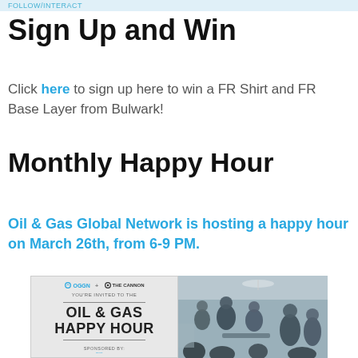FOLLOW/INTERACT
Sign Up and Win
Click here to sign up here to win a FR Shirt and FR Base Layer from Bulwark!
Monthly Happy Hour
Oil & Gas Global Network is hosting a happy hour on March 26th, from 6-9 PM.
[Figure (photo): Left panel: OGGN + The Cannon event invitation for Oil & Gas Happy Hour, sponsored by. Right panel: photo of people socializing at a networking event.]